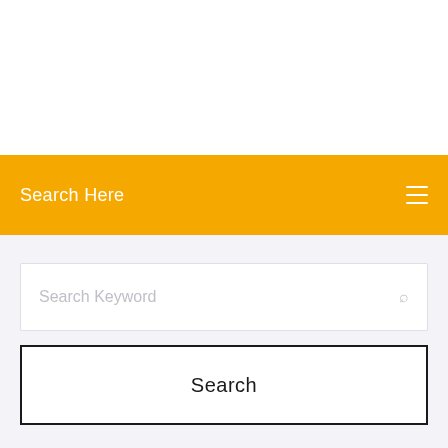[Figure (screenshot): Orange navigation/search bar with text 'Search Here' and hamburger menu icon on white background]
Search Here
[Figure (screenshot): Search panel with light purple background containing a search input field with placeholder 'Search Keyword' and a 'Search' button with black border]
Search Keyword
Search